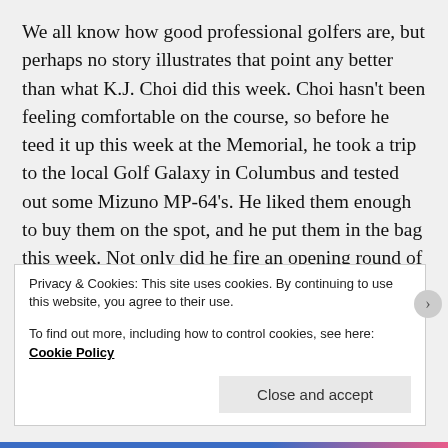We all know how good professional golfers are, but perhaps no story illustrates that point any better than what K.J. Choi did this week. Choi hasn't been feeling comfortable on the course, so before he teed it up this week at the Memorial, he took a trip to the local Golf Galaxy in Columbus and tested out some Mizuno MP-64's. He liked them enough to buy them on the spot, and he put them in the bag this week. Not only did he fire an opening round of even par, he navigated the course and the weather to end up tied for 21st at 1-under par. Mizuno man Luke Donald clearly approved:
Privacy & Cookies: This site uses cookies. By continuing to use this website, you agree to their use.
To find out more, including how to control cookies, see here: Cookie Policy
Close and accept